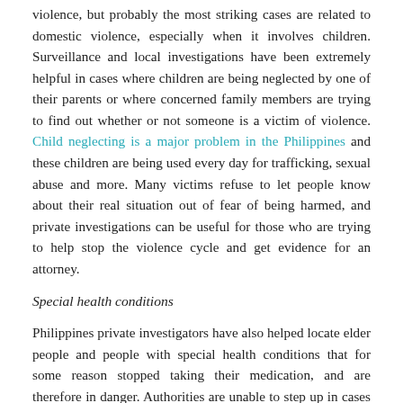violence, but probably the most striking cases are related to domestic violence, especially when it involves children. Surveillance and local investigations have been extremely helpful in cases where children are being neglected by one of their parents or where concerned family members are trying to find out whether or not someone is a victim of violence. Child neglecting is a major problem in the Philippines and these children are being used every day for trafficking, sexual abuse and more. Many victims refuse to let people know about their real situation out of fear of being harmed, and private investigations can be useful for those who are trying to help stop the violence cycle and get evidence for an attorney.
Special health conditions
Philippines private investigators have also helped locate elder people and people with special health conditions that for some reason stopped taking their medication, and are therefore in danger. Authorities are unable to step up in cases where people are not officially lost, but who have voluntarily gone missing. The problem is, some of these cases involve people who have special health conditions –mental health disorders, Alzheimer´s, etc- and who may not be 100% conscious of the decisions they are taking. Locating these patients on time could be the difference between life and